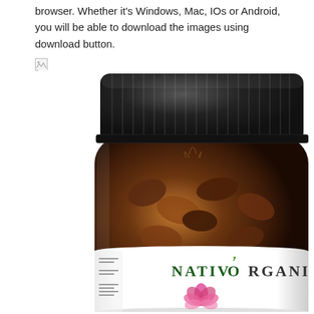browser. Whether it's Windows, Mac, IOs or Android, you will be able to download the images using download button.
[Figure (photo): A dark amber glass supplement bottle with a black ribbed screw-top lid, containing capsules, with a white label showing the brand name NATIVORGANICS in dark green text and a pink lotus flower graphic at the bottom. The bottle is photographed on a white background.]